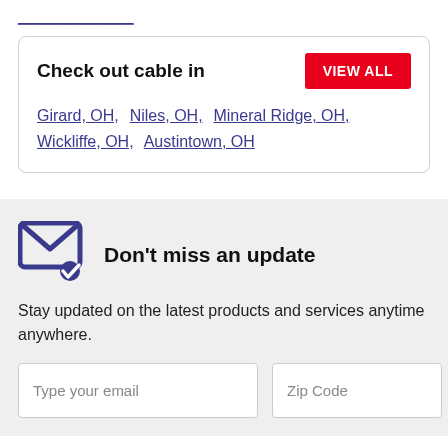Check out cable in
Girard, OH,  Niles, OH,  Mineral Ridge, OH,  Wickliffe, OH,  Austintown, OH
Don't miss an update
Stay updated on the latest products and services anytime anywhere.
Type your email
Zip Code